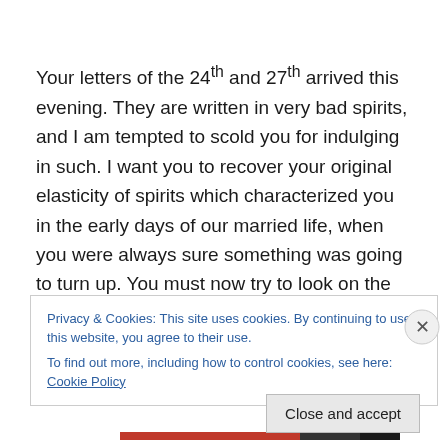Your letters of the 24th and 27th arrived this evening. They are written in very bad spirits, and I am tempted to scold you for indulging in such. I want you to recover your original elasticity of spirits which characterized you in the early days of our married life, when you were always sure something was going to turn up. You must now try to look on the bright side and hope for the best. I think we have a
Privacy & Cookies: This site uses cookies. By continuing to use this website, you agree to their use.
To find out more, including how to control cookies, see here: Cookie Policy
Close and accept